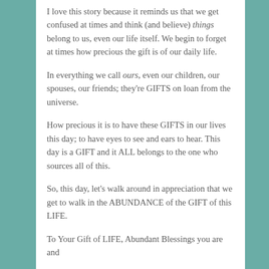I love this story because it reminds us that we get confused at times and think (and believe) things belong to us, even our life itself. We begin to forget at times how precious the gift is of our daily life.
In everything we call ours, even our children, our spouses, our friends; they're GIFTS on loan from the universe.
How precious it is to have these GIFTS in our lives this day; to have eyes to see and ears to hear. This day is a GIFT and it ALL belongs to the one who sources all of this.
So, this day, let's walk around in appreciation that we get to walk in the ABUNDANCE of the GIFT of this LIFE.
To Your Gift of LIFE, Abundant Blessings you are and